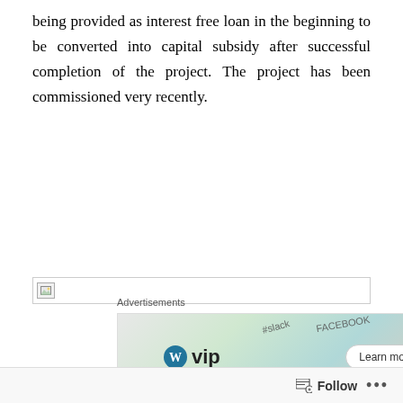being provided as interest free loan in the beginning to be converted into capital subsidy after successful completion of the project. The project has been commissioned very recently.
[Figure (other): Broken/missing image placeholder with small icon and horizontal line border]
Advertisements
[Figure (other): WordPress VIP advertisement banner with WP logo, #slack, FACEBOOK and other brand logos, and a Learn more button]
Follow   ...